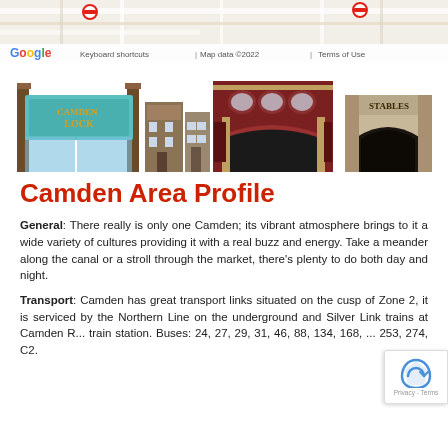[Figure (screenshot): Google Maps screenshot showing street map, with footer bar reading 'Keyboard shortcuts | Map data ©2022 | Terms of Use']
[Figure (illustration): Illustrated skyline of Camden market buildings including Camden Lock entrance gate, Victorian terraced buildings, a large ornate market building, and the Stables Market arch]
Camden Area Profile
General: There really is only one Camden; its vibrant atmosphere brings to it a wide variety of cultures providing it with a real buzz and energy. Take a meander along the canal or a stroll through the market, there's plenty to do both day and night.
Transport: Camden has great transport links situated on the cusp of Zone 2, it is serviced by the Northern Line on the underground and Silver Link trains at Camden R... train station. Buses: 24, 27, 29, 31, 46, 88, 134, 168, ... 253, 274, C2.